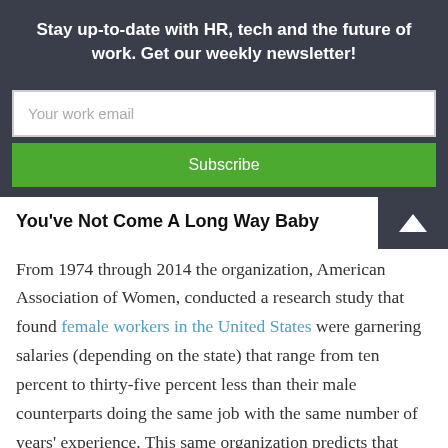Stay up-to-date with HR, tech and the future of work. Get our weekly newsletter!
Your work email
Subscribe
You've Not Come A Long Way Baby
From 1974 through 2014 the organization, American Association of Women, conducted a research study that found female workers in the United States were garnering salaries (depending on the state) that range from ten percent to thirty-five percent less than their male counterparts doing the same job with the same number of years' experience. This same organization predicts that based on the current salary trend, it will take another 100 years for this pay gap to close. Further, according to the Organization for Economic Cooperation and Development, the United States is